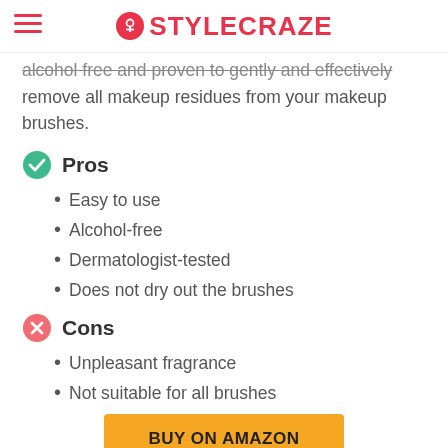STYLECRAZE
alcohol free and proven to gently and effectively remove all makeup residues from your makeup brushes.
Pros
Easy to use
Alcohol-free
Dermatologist-tested
Does not dry out the brushes
Cons
Unpleasant fragrance
Not suitable for all brushes
BUY ON AMAZON